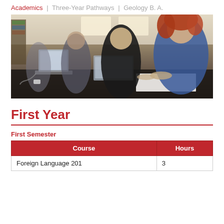Academics | Three-Year Pathways | Geology B. A.
[Figure (photo): Students working together at laptops in a classroom setting. A woman with curly red hair in a blue sweater is visible in the foreground, along with several male students at a desk.]
First Year
First Semester
| Course | Hours |
| --- | --- |
| Foreign Language 201 | 3 |